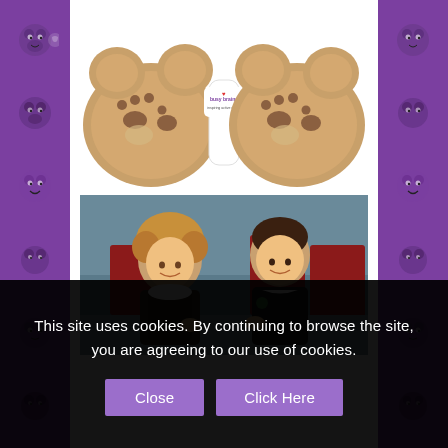[Figure (photo): Busy Brains branded bear-shaped biscuit product, two biscuit halves joined by a white center with the Busy Brains logo and tagline 'inspiring active minds']
[Figure (photo): Two young school children smiling in a classroom setting, a girl with curly hair in a dark pinafore and a boy in a dark school sweatshirt with a badge, both holding small items]
This site uses cookies. By continuing to browse the site, you are agreeing to our use of cookies.
Close
Click Here